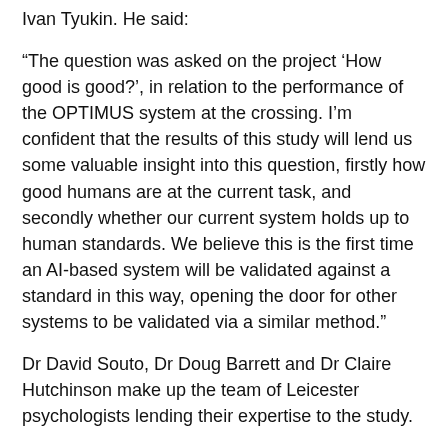Ivan Tyukin. He said:
“The question was asked on the project ‘How good is good?’, in relation to the performance of the OPTIMUS system at the crossing. I’m confident that the results of this study will lend us some valuable insight into this question, firstly how good humans are at the current task, and secondly whether our current system holds up to human standards. We believe this is the first time an AI-based system will be validated against a standard in this way, opening the door for other systems to be validated via a similar method.”
Dr David Souto, Dr Doug Barrett and Dr Claire Hutchinson make up the team of Leicester psychologists lending their expertise to the study.
Dr Claire Hutchinson, Associate Professor in Experimental Psychology at the University of Leicester said:
“We are really excited to be involved in this interdisciplinary work. Comparing AI and human performance in this way will help us